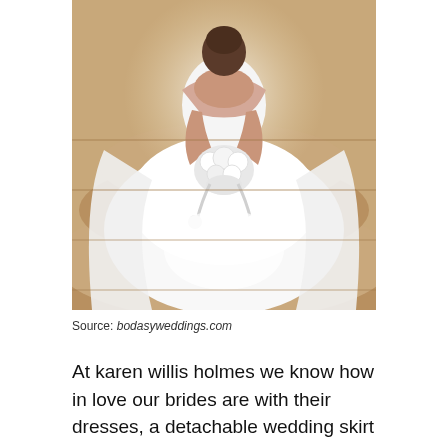[Figure (photo): Aerial/overhead view of a bride in a white strapless wedding dress with a large flowing skirt, holding a white floral bouquet, standing on marble stairs. Photo taken from above looking down.]
Source: bodasyweddings.com
At karen willis holmes we know how in love our brides are with their dresses, a detachable wedding skirt gives you the option to wear your perfect gown all night long while still getting that elusive feeling of the wedding gown... Don't